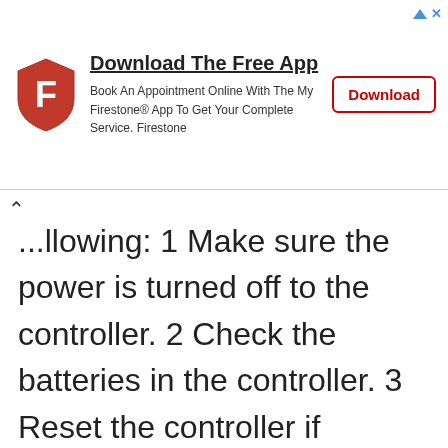[Figure (infographic): Firestone app advertisement banner with red shield logo, title 'Download The Free App', subtitle text about booking appointments, and a red-bordered Download button]
...llowing: 1 Make sure the power is turned off to the controller. 2 Check the batteries in the controller. 3 Reset the controller if necessary. 4 Check the connections between the controller and the valves. 5 Check the wiring from the controller to the valves. 6 Check the